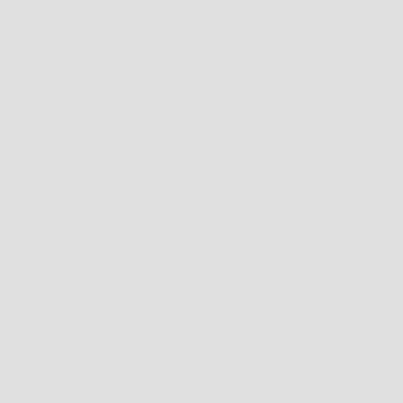Division Business Meetings
Editorial Board Meetings
Union Meetings
P
TS2 Str Con
C
P
HS Mu Con
C
P
P
EM Roo Con
C
P
EM Mic Con
C
P
EM